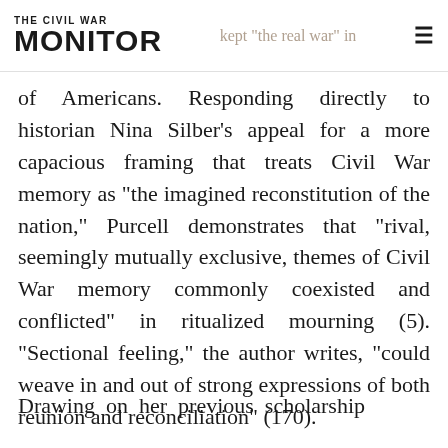THE CIVIL WAR MONITOR
of Americans. Responding directly to historian Nina Silber’s appeal for a more capacious framing that treats Civil War memory as “the imagined reconstitution of the nation,” Purcell demonstrates that “rival, seemingly mutually exclusive, themes of Civil War memory commonly coexisted and conflicted” in ritualized mourning (5). “Sectional feeling,” the author writes, “could weave in and out of strong expressions of both reunion and reconciliation” (170).
Drawing on her previous scholarship